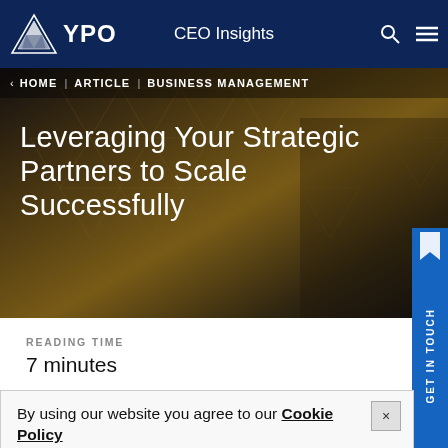YPO | CEO Insights
HOME | ARTICLE | BUSINESS MANAGEMENT
Leveraging Your Strategic Partners to Scale Successfully
READING TIME
7 minutes
FEATURED IN THIS STORY
By using our website you agree to our Cookie Policy
[Figure (photo): Bottom strip showing a person, partial view]